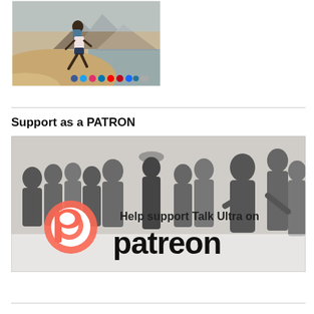[Figure (photo): A runner in colorful gear descending a sand dune with ocean and mountains in background. Social media icons displayed at bottom of image.]
Support as a PATRON
[Figure (photo): Patreon promotional image with crowd of people in background and text 'Help support Talk Ultra on patreon' with Patreon logo in orange and black.]